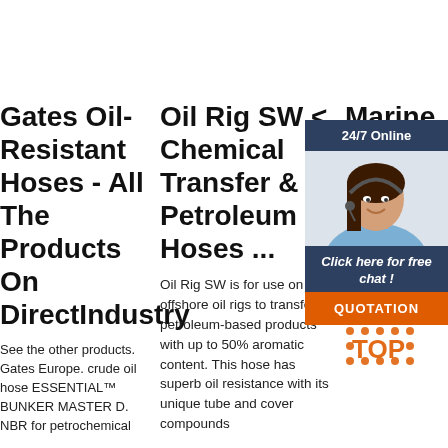Gates Oil-Resistant Hoses - All The Products On DirectIndustry
See the other products. Gates Europe. crude oil hose ESSENTIAL™ BUNKER MASTER D. NBR for petrochemical
Oil Rig SW < Chemical Transfer & Petroleum Hoses ...
Oil Rig SW is for use on offshore oil rigs to transfer petroleum-based products with up to 50% aromatic content. This hose has superb oil resistance with its unique tube and cover compounds
Marine Co... Ho... Pe... Ar... Ar...
2019... comp... suitable for the suction and discharge of petroleum products for ship to ship and ship to shore. It can be used to transfer all types of
[Figure (photo): Chat widget overlay with woman wearing headset, 24/7 Online header, click here for free chat prompt, and QUOTATION button]
[Figure (logo): TOP logo watermark in orange with dot pattern]